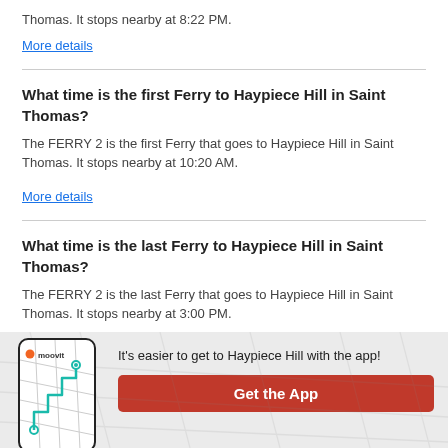Thomas. It stops nearby at 8:22 PM.
More details
What time is the first Ferry to Haypiece Hill in Saint Thomas?
The FERRY 2 is the first Ferry that goes to Haypiece Hill in Saint Thomas. It stops nearby at 10:20 AM.
More details
What time is the last Ferry to Haypiece Hill in Saint Thomas?
The FERRY 2 is the last Ferry that goes to Haypiece Hill in Saint Thomas. It stops nearby at 3:00 PM.
[Figure (infographic): Moovit app banner with phone mockup showing a map route, moovit logo, slogan 'It's easier to get to Haypiece Hill with the app!', and an orange 'Get the App' button.]